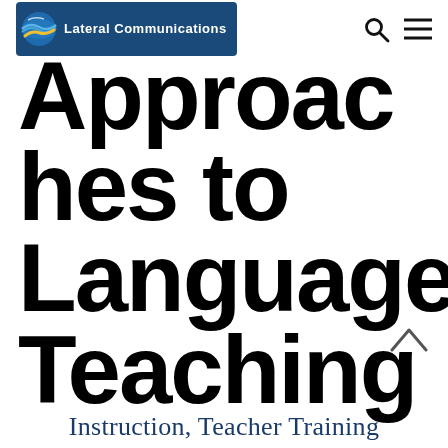Lateral Communications
Approaches to Language Teaching
Instruction, Teacher Training